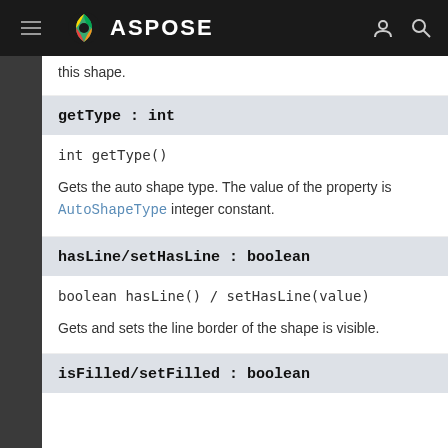ASPOSE
this shape.
getType : int
int getType()
Gets the auto shape type. The value of the property is AutoShapeType integer constant.
hasLine/setHasLine : boolean
boolean hasLine() / setHasLine(value)
Gets and sets the line border of the shape is visible.
isFilled/setFilled : boolean